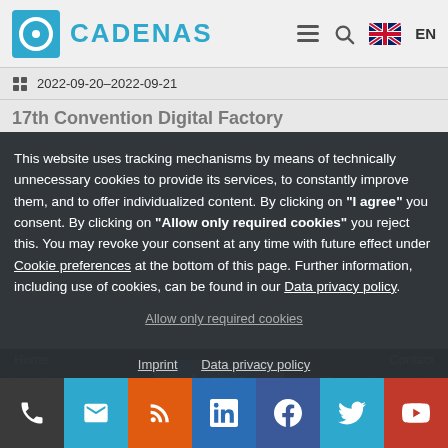CADENAS
2022-09-20–2022-09-21
17th Convention Digital Factory
This website uses tracking mechanisms by means of technically unnecessary cookies to provide its services, to constantly improve them, and to offer individualized content. By clicking on "I agree" you consent. By clicking on "Allow only required cookies" you reject this. You may revoke your consent at any time with future effect under Cookie preferences at the bottom of this page. Further information, including use of cookies, can be found in our Data privacy policy.
Allow only required cookies
Home
Contact
Imprint
I agree
Data privacy policy
Cookie preferences
Sitemap
Imprint   Data privacy policy